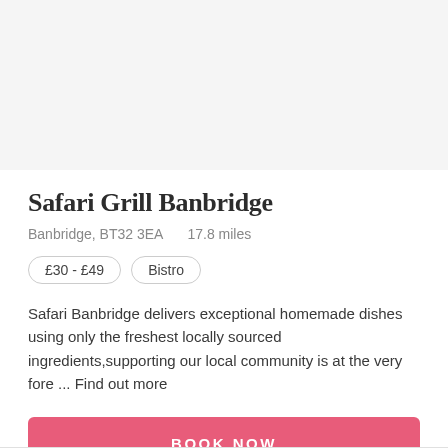[Figure (photo): Empty light gray image placeholder area at the top of the card]
Safari Grill Banbridge
Banbridge, BT32 3EA    17.8 miles
£30 - £49
Bistro
Safari Banbridge delivers exceptional homemade dishes using only the freshest locally sourced ingredients,supporting our local community is at the very fore ... Find out more
BOOK NOW